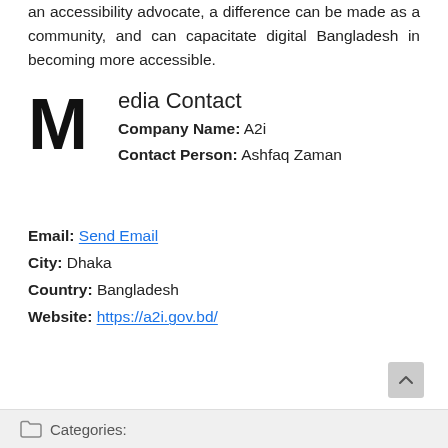an accessibility advocate, a difference can be made as a community, and can capacitate digital Bangladesh in becoming more accessible.
Media Contact
Company Name: A2i
Contact Person: Ashfaq Zaman
Email: Send Email
City: Dhaka
Country: Bangladesh
Website: https://a2i.gov.bd/
Categories: